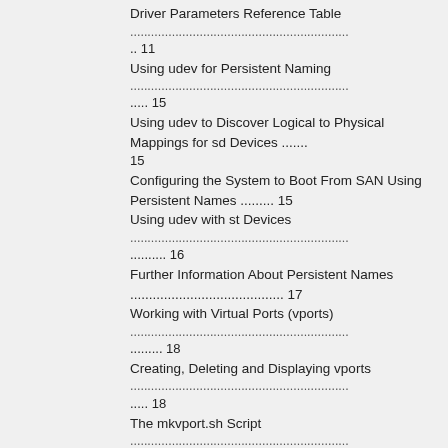Driver Parameters Reference Table .. 11
Using udev for Persistent Naming ..... 15
Using udev to Discover Logical to Physical Mappings for sd Devices ....... 15
Configuring the System to Boot From SAN Using Persistent Names ......... 15
Using udev with st Devices .......... 16
Further Information About Persistent Names ........................................ 17
Working with Virtual Ports (vports)............................................... 18
Creating, Deleting and Displaying vports.............................................. 18
The mkvport.sh Script .................. 18
The rmvport.sh Script................................................ 19